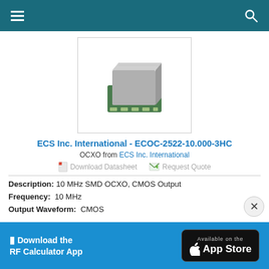Navigation bar with menu and search icons
[Figure (photo): Product photo of ECS ECOC-2522-10.000-3HC OCXO SMD oscillator component — a small metallic square IC package on a green PCB substrate]
ECS Inc. International - ECOC-2522-10.000-3HC
OCXO from ECS Inc. International
Download Datasheet   Request Quote
Description: 10 MHz SMD OCXO, CMOS Output
Frequency: 10 MHz
Output Waveform: CMOS
[Figure (screenshot): Advertisement banner: Download the RF Calculator App - Available on the App Store]